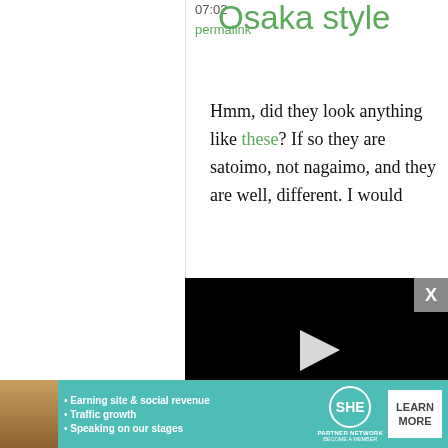07:02
permalink
Osaka style
Hmm, did they look anything like these? If so they are satoimo, not nagaimo, and they are well, different. I would
[Figure (screenshot): Embedded video player with black background, play button triangle, progress bar, and controls showing 13:52 timestamp with CC, grid, settings, and fullscreen icons]
Edit: My mom mentions
[Figure (infographic): SHE Partner Network advertisement banner with teal background, woman photo, bullet points about earning site & social revenue, traffic growth, speaking on stages, SHE logo, and LEARN MORE button]